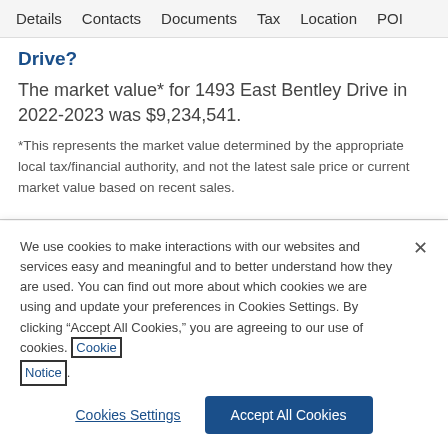Details   Contacts   Documents   Tax   Location   POI
Drive?
The market value* for 1493 East Bentley Drive in 2022-2023 was $9,234,541.
*This represents the market value determined by the appropriate local tax/financial authority, and not the latest sale price or current market value based on recent sales.
We use cookies to make interactions with our websites and services easy and meaningful and to better understand how they are used. You can find out more about which cookies we are using and update your preferences in Cookies Settings. By clicking “Accept All Cookies,” you are agreeing to our use of cookies. Cookie Notice.
Cookies Settings
Accept All Cookies